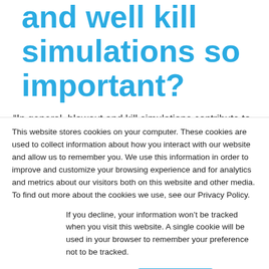and well kill simulations so important?
“In general, blowout and kill simulations contribute to risk awareness among engineers
This website stores cookies on your computer. These cookies are used to collect information about how you interact with our website and allow us to remember you. We use this information in order to improve and customize your browsing experience and for analytics and metrics about our visitors both on this website and other media. To find out more about the cookies we use, see our Privacy Policy.
If you decline, your information won’t be tracked when you visit this website. A single cookie will be used in your browser to remember your preference not to be tracked.